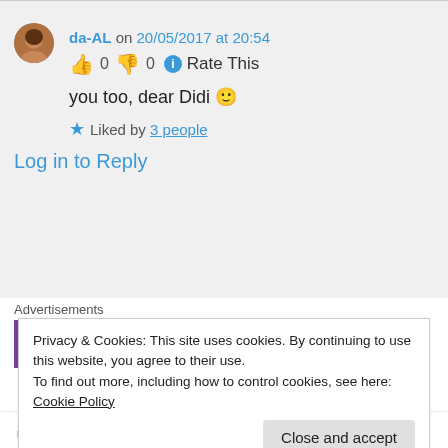da-AL on 20/05/2017 at 20:54
👍 0 👎 0 ℹ Rate This
you too, dear Didi 🙂
★ Liked by 3 people
Log in to Reply
Advertisements
[Figure (other): WooCommerce advertisement banner showing 'How to start selling']
Privacy & Cookies: This site uses cookies. By continuing to use this website, you agree to their use.
To find out more, including how to control cookies, see here: Cookie Policy
Close and accept
👍 0 👎 0 ℹ Rate This